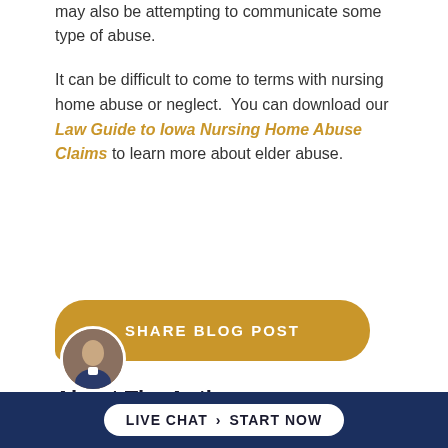may also be attempting to communicate some type of abuse.
It can be difficult to come to terms with nursing home abuse or neglect. You can download our Law Guide to Iowa Nursing Home Abuse Claims to learn more about elder abuse.
[Figure (other): Gold rounded button with text SHARE BLOG POST]
About The Author
Pressley Henningsen
phenningsen@fightingforfairness.com
[Figure (other): Live Chat - Start Now pill button on dark navy bar at bottom of page]